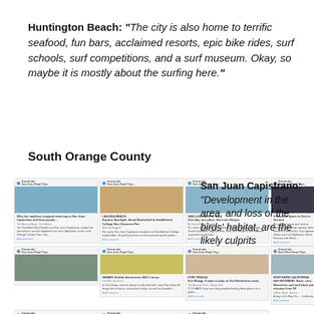Huntington Beach: "The city is also home to terrific seafood, fun bars, acclaimed resorts, epic bike rides, surf schools, surf competitions, and a surf museum. Okay, so maybe it is mostly about the surfing here."
South Orange County
[Figure (screenshot): Grid of article cards with thumbnails showing various California travel destinations including desert, beach, coastal and night scenes]
San Juan Capistrano: "Development in the area, and loss of the birds' habitat, are the likely culprits